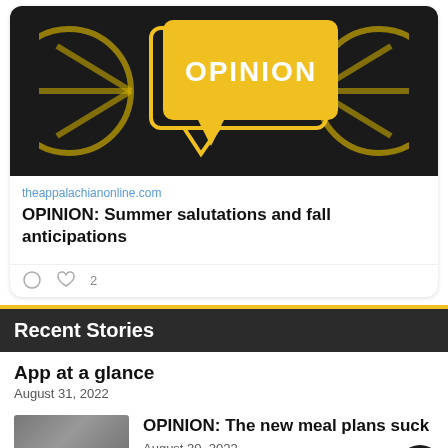[Figure (screenshot): Opinion banner image: dark background with yellow speech bubble containing the word OPINION in bold white text, flanked by partial circular logo elements]
theappalachianonline.com
OPINION: Summer salutations and fall anticipations
Recent Stories
App at a glance
August 31, 2022
[Figure (photo): Small thumbnail photo of a cafeteria or dining hall interior]
OPINION: The new meal plans suck
August 30, 2022